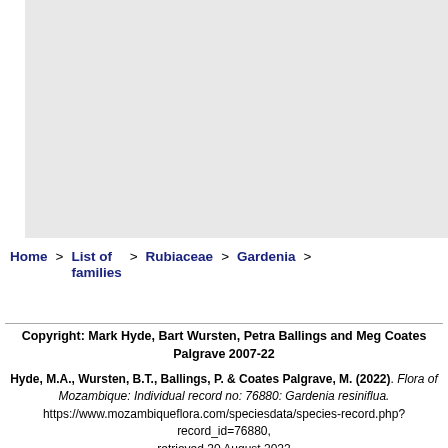[Figure (photo): Large light gray image area placeholder, presumably a botanical photograph]
Home > List of families > Rubiaceae > Gardenia >
Copyright: Mark Hyde, Bart Wursten, Petra Ballings and Meg Coates Palgrave 2007-22
Hyde, M.A., Wursten, B.T., Ballings, P. & Coates Palgrave, M. (2022). Flora of Mozambique: Individual record no: 76880: Gardenia resiniflua. https://www.mozambiqueflora.com/speciesdata/species-record.php?record_id=76880, retrieved 30 August 2022
Site software last modified: 3 April 2018 9:54pm
Terms of use